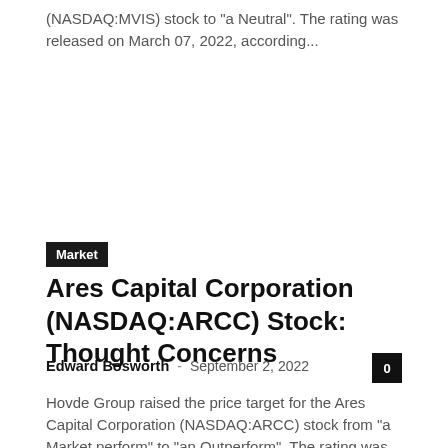(NASDAQ:MVIS) stock to "a Neutral". The rating was released on March 07, 2022, according...
Market
Ares Capital Corporation (NASDAQ:ARCC) Stock: Thought Concerns
Edward Bosworth · September 2, 2022
Hovde Group raised the price target for the Ares Capital Corporation (NASDAQ:ARCC) stock from "a Market perform" to "an Outperform". The rating was released...